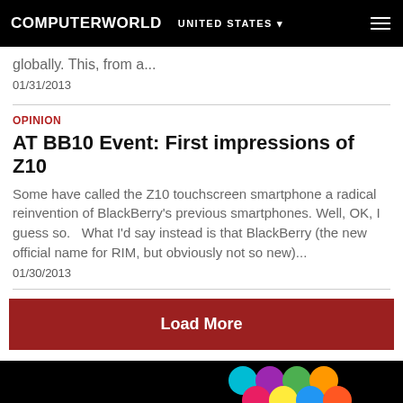COMPUTERWORLD   UNITED STATES
globally. This, from a...
01/31/2013
OPINION
AT BB10 Event: First impressions of Z10
Some have called the Z10 touchscreen smartphone a radical reinvention of BlackBerry's previous smartphones. Well, OK, I guess so.   What I'd say instead is that BlackBerry (the new official name for RIM, but obviously not so new)...
01/30/2013
Load More
[Figure (other): Advertisement banner with colorful circles on black background, partial text LEADERSHIP STRESSED]